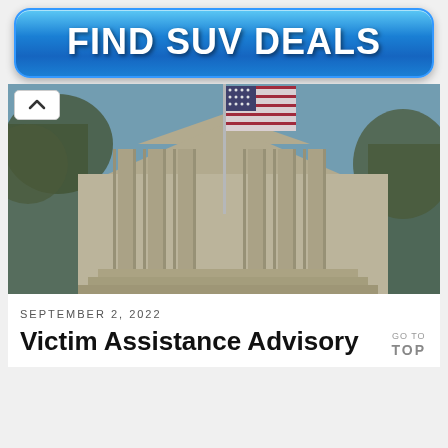[Figure (other): Blue gradient button with text FIND SUV DEALS in bold white letters, rounded rectangle shape with shine effect]
[Figure (photo): Photo of a government building with classical columns and an American flag flying against a blue sky, with trees on either side]
SEPTEMBER 2, 2022
Victim Assistance Advisory
GO TO TOP